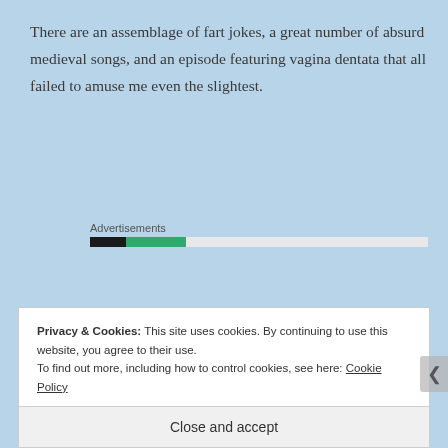There are an assemblage of fart jokes, a great number of absurd medieval songs, and an episode featuring vagina dentata that all failed to amuse me even the slightest.
[Figure (other): Advertisements bar with black segment, green segment, and white/gray segment]
Perhaps it's me. Perhaps I'm just a tense, humorless sod. I won't rule it out.
Privacy & Cookies: This site uses cookies. By continuing to use this website, you agree to their use.
To find out more, including how to control cookies, see here: Cookie Policy
Close and accept